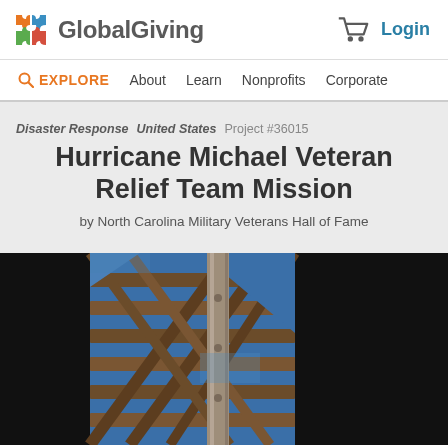GlobalGiving  Login
EXPLORE  About  Learn  Nonprofits  Corporate
Disaster Response  United States  Project #36015
Hurricane Michael Veteran Relief Team Mission
by North Carolina Military Veterans Hall of Fame
[Figure (photo): Photograph looking upward through a structural grid or lattice of metal beams against a blue sky, with a vertical cylindrical column in the center. Black panels flank the left and right edges.]